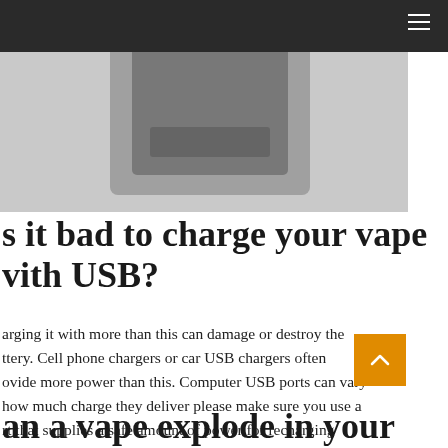[Figure (photo): A grayscale photo showing a vape/electronic device with a rounded rectangular shape against a light grey background]
Is it bad to charge your vape with USB?
harging it with more than this can damage or destroy the ttery. Cell phone chargers or car USB chargers often ovide more power than this. Computer USB ports can vary how much charge they deliver please make sure you use a rt that supplies a safe amount of power for recharging ping devices. Do not use USB3.
an a vape explode in your